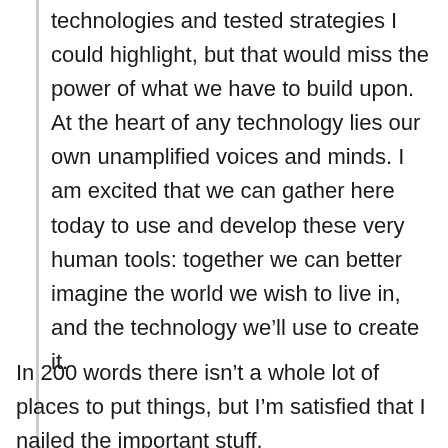technologies and tested strategies I could highlight, but that would miss the power of what we have to build upon. At the heart of any technology lies our own unamplified voices and minds. I am excited that we can gather here today to use and develop these very human tools: together we can better imagine the world we wish to live in, and the technology we'll use to create it.
In 200 words there isn't a whole lot of places to put things, but I'm satisfied that I nailed the important stuff.